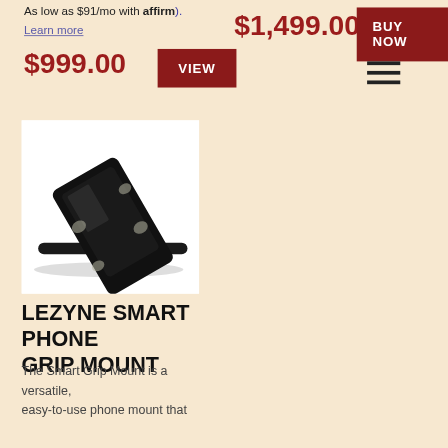As low as $91/mo with affirm).
Learn more
$1,499.00
BUY NOW
$999.00
VIEW
[Figure (photo): Lezyne Smart Phone Grip Mount attached to a bicycle handlebar, showing a smartphone clamped in the mount from a diagonal angle.]
LEZYNE SMART PHONE GRIP MOUNT
The Smart Grip Mount is a versatile, easy-to-use phone mount that